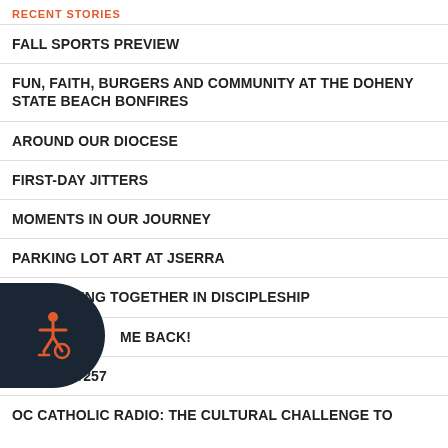RECENT STORIES
FALL SPORTS PREVIEW
FUN, FAITH, BURGERS AND COMMUNITY AT THE DOHENY STATE BEACH BONFIRES
AROUND OUR DIOCESE
FIRST-DAY JITTERS
MOMENTS IN OUR JOURNEY
PARKING LOT ART AT JSERRA
JOURNEYING TOGETHER IN DISCIPLESHIP
WELCOME BACK!
EPISODE#257
OC CATHOLIC RADIO: THE CULTURAL CHALLENGE TO